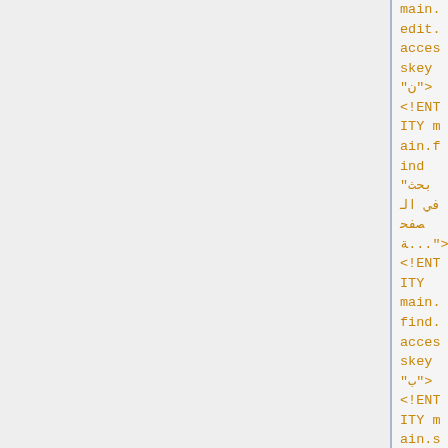main.edit.accesskey "ن">
<!ENTITY main.find "بحث في الصفحة...">
<!ENTITY main.find.accesskey "ب">
<!ENTITY main.selectall "تحديد الكل">
<!ENTITY main.selectall.accesskey "ح">
<!ENTITY main.copy "نسخ">
<!ENTITY main.copy.accesskey "ن">
<!ENTITY main.transliteration "Transliteration">
<!ENTITY main.transliteration.accesskey "T">

<!-- Display menu -->